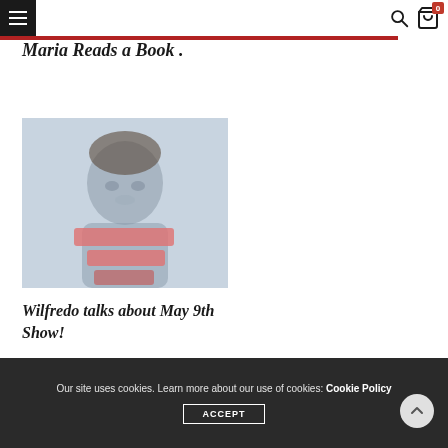Navigation bar with hamburger menu, search icon, and cart icon with badge 0
Maria Reads a Book .
[Figure (photo): Blurred portrait photo of a person with pink/red text overlay, on a light blue background]
Wilfredo talks about May 9th Show!
Our site uses cookies. Learn more about our use of cookies: Cookie Policy
ACCEPT